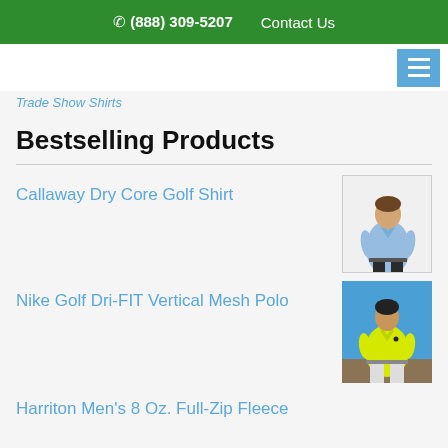☎ (888) 309-5207   Contact Us
Trade Show Shirts
Bestselling Products
Callaway Dry Core Golf Shirt
[Figure (photo): Man wearing a light blue polo shirt with dark pants]
Nike Golf Dri-FIT Vertical Mesh Polo
[Figure (photo): Man wearing a yellow/neon green polo shirt outdoors]
Harriton Men's 8 Oz. Full-Zip Fleece